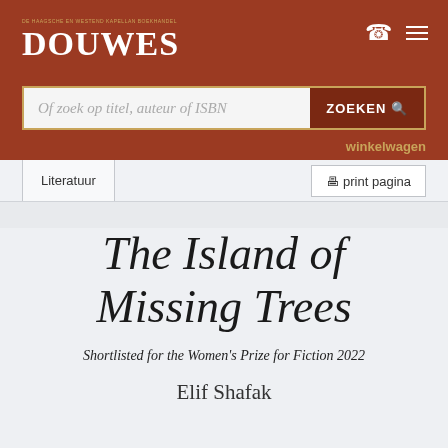DOUWES
Of zoek op titel, auteur of ISBN
ZOEKEN
winkelwagen
Literatuur
print pagina
The Island of Missing Trees
Shortlisted for the Women's Prize for Fiction 2022
Elif Shafak